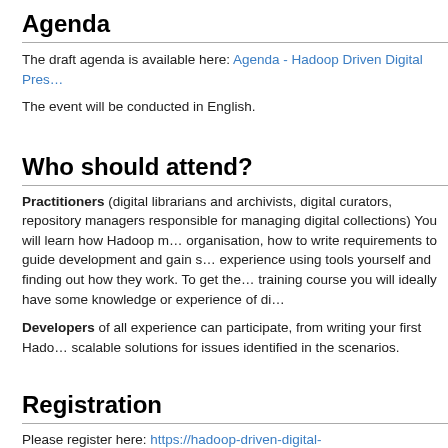Agenda
The draft agenda is available here: Agenda - Hadoop Driven Digital Pres…
The event will be conducted in English.
Who should attend?
Practitioners (digital librarians and archivists, digital curators, repository managers responsible for managing digital collections) You will learn how Hadoop may benefit your organisation, how to write requirements to guide development and gain some hands-on experience using tools yourself and finding out how they work. To get the most from this training course you will ideally have some knowledge or experience of digital preservation.
Developers of all experience can participate, from writing your first Hadoop job to scalable solutions for issues identified in the scenarios.
Registration
Please register here: https://hadoop-driven-digital-preservation.eventbrite…
OPF members are invited to attend free of charge. Please use the code i… waive the fee.